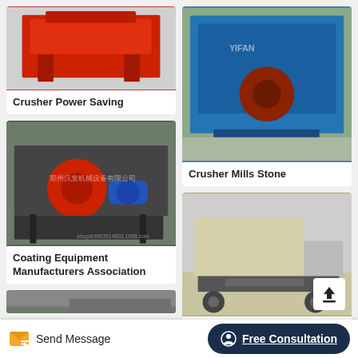[Figure (photo): Red industrial crusher machine on red metal frame]
Crusher Power Saving
[Figure (photo): Red and blue industrial coating/hammer mill equipment on black metal stand, Chinese text watermark]
Coating Equipment Manufacturers Association
[Figure (photo): Partial view of industrial machinery in a warehouse]
[Figure (photo): Blue industrial impact crusher machine outdoors with YIFAN branding]
Crusher Mills Stone
[Figure (photo): Beige/tan industrial hammer crusher on wheeled cart/trailer inside a large warehouse]
Building Material Hammer
Send Message
Free Consultation